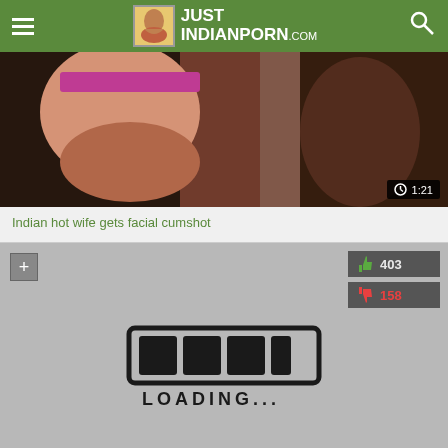JUST INDIANPORN.com
[Figure (screenshot): Video thumbnail showing partial image with pink clothing, dark background]
1:21
Indian hot wife gets facial cumshot
[Figure (screenshot): Video player loading screen with hand-drawn loading bar graphic and LOADING... text, vote buttons showing 403 likes and 158 dislikes]